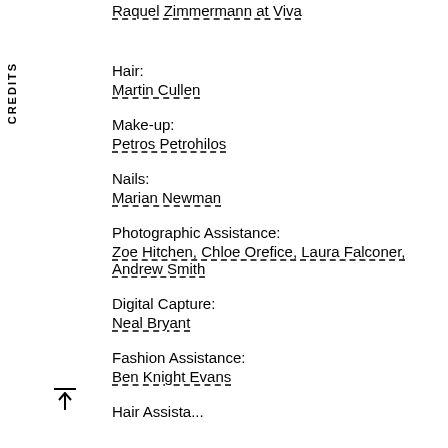Raquel Zimmermann at Viva
CREDITS
Hair:
Martin Cullen
Make-up:
Petros Petrohilos
Nails:
Marian Newman
Photographic Assistance:
Zoe Hitchen, Chloe Orefice, Laura Falconer, Andrew Smith
Digital Capture:
Neal Bryant
Fashion Assistance:
Ben Knight Evans
Hair Assistant: